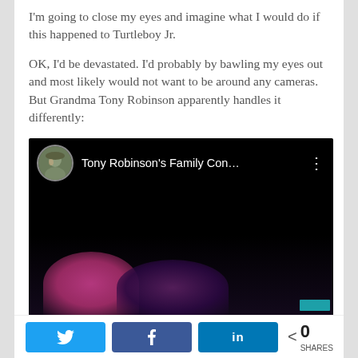I'm going to close my eyes and imagine what I would do if this happened to Turtleboy Jr.
OK, I'd be devastated. I'd probably by bawling my eyes out and most likely would not want to be around any cameras. But Grandma Tony Robinson apparently handles it differently:
[Figure (screenshot): YouTube video thumbnail showing 'Tony Robinson's Family Con...' with a circular avatar of a person on the left, three-dot menu on the right, and a dark video frame with people visible at the bottom with pink/purple lighting.]
Twitter share button | Facebook share button | LinkedIn share button | < 0 SHARES